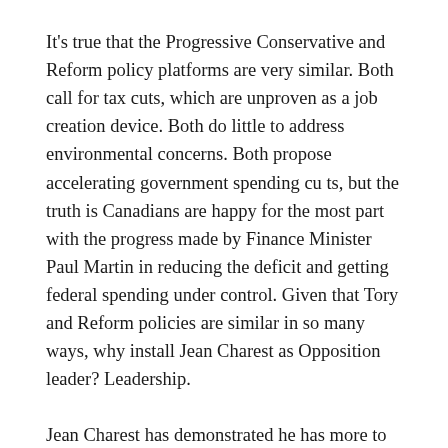It's true that the Progressive Conservative and Reform policy platforms are very similar. Both call for tax cuts, which are unproven as a job creation device. Both do little to address environmental concerns. Both propose accelerating government spending cu ts, but the truth is Canadians are happy for the most part with the progress made by Finance Minister Paul Martin in reducing the deficit and getting federal spending under control. Given that Tory and Reform policies are similar in so many ways, why install Jean Charest as Opposition leader? Leadership.
Jean Charest has demonstrated he has more to offer personally than any of the other party leaders. His youthful energy and intellectual sincerity appeal to Canadians, but he offers more than a good sound-bite and an engaging television presence. Charest is passionate about a united